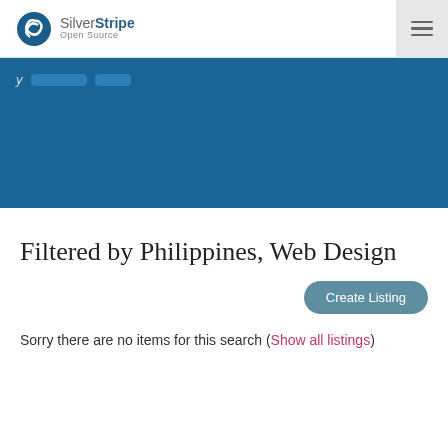[Figure (logo): SilverStripe Open Source logo with icon and text]
[Figure (screenshot): Blue navigation banner with partial navigation text and two buttons]
Filtered by Philippines, Web Design
Create Listing
Sorry there are no items for this search (Show all listings)